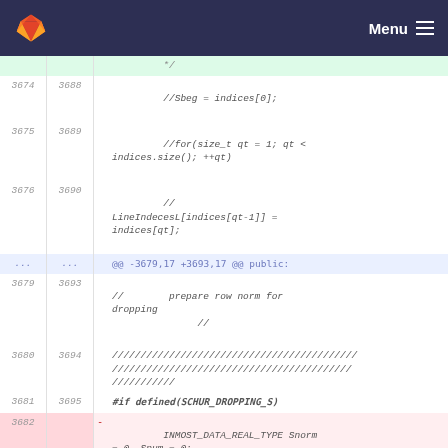GitLab Menu
Code diff view showing lines 3674-3682 with modifications to source file. Contains commented-out code and #if defined(SCHUR_DROPPING_S) preprocessor directive.